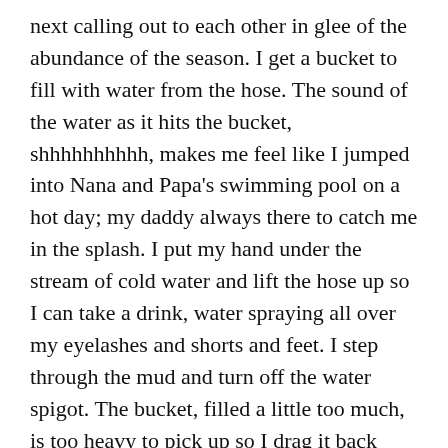next calling out to each other in glee of the abundance of the season. I get a bucket to fill with water from the hose. The sound of the water as it hits the bucket, shhhhhhhhhh, makes me feel like I jumped into Nana and Papa's swimming pool on a hot day; my daddy always there to catch me in the splash. I put my hand under the stream of cold water and lift the hose up so I can take a drink, water spraying all over my eyelashes and shorts and feet. I step through the mud and turn off the water spigot. The bucket, filled a little too much, is too heavy to pick up so I drag it back over to the sandbox, water sloshing out, watering the parched summer grass. I'm going to make mud pies for Suzie. It's her birthday. I look up from the slopping bucket and spy big, juicy blackberries growing along the fence line; hundreds of them hanging off of spiky vines. The smell so sweet, mixed in with pine needles, over-ripened fruit